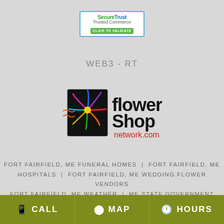[Figure (logo): SecureTrust Trusted Commerce CLICK TO VALIDATE badge]
WEB3 - RT
[Figure (logo): Flower Shop network.com logo with colorful flower graphic]
FORT FAIRFIELD, ME FUNERAL HOMES | FORT FAIRFIELD, ME HOSPITALS | FORT FAIRFIELD, ME WEDDING FLOWER VENDORS FORT FAIRFIELD, ME WEATHER | ME STATE GOVERNMENT SITE PRIVACY POLICY | TERMS OF PURCHASE
CALL   MAP   HOURS